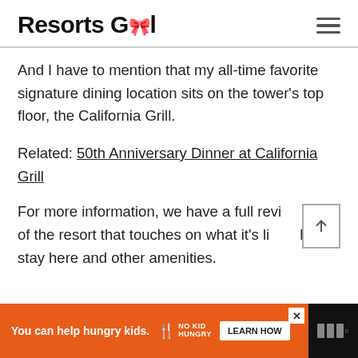Resorts Gal
And I have to mention that my all-time favorite signature dining location sits on the tower's top floor, the California Grill.
Related: 50th Anniversary Dinner at California Grill
For more information, we have a full review of the resort that touches on what it's like to stay here and other amenities.
You can help hungry kids. NO KID HUNGRY LEARN HOW